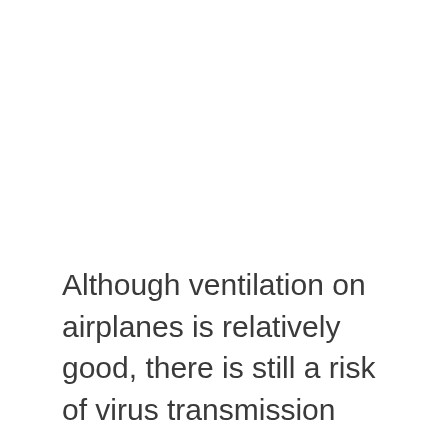Although ventilation on airplanes is relatively good, there is still a risk of virus transmission